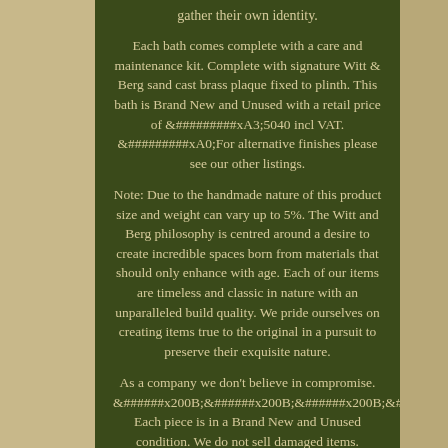gather their own identity.
Each bath comes complete with a care and maintenance kit. Complete with signature Witt & Berg sand cast brass plaque fixed to plinth. This bath is Brand New and Unused with a retail price of &#########xA3;5040 incl VAT. &#########xA0;For alternative finishes please see our other listings.
Note: Due to the handmade nature of this product size and weight can vary up to 5%. The Witt and Berg philosophy is centred around a desire to create incredible spaces born from materials that should only enhance with age. Each of our items are timeless and classic in nature with an unparalleled build quality. We pride ourselves on creating items true to the original in a pursuit to preserve their exquisite nature.
As a company we don't believe in compromise. &#x200B;&#x200B;&#x200B;&#x200B; Each piece is in a Brand New and Unused condition. We do not sell damaged items.